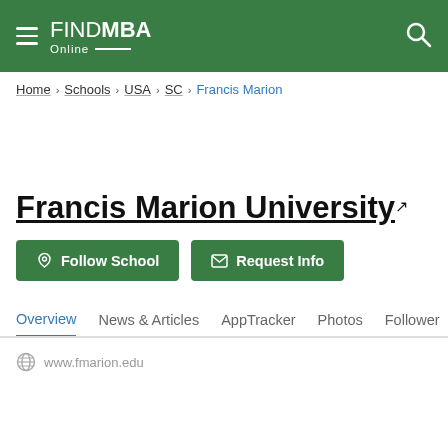FIND MBA Online
Home > Schools > USA > SC > Francis Marion
Francis Marion University
Follow School   Request Info
Overview  News & Articles  AppTracker  Photos  Followers
www.fmarion.edu